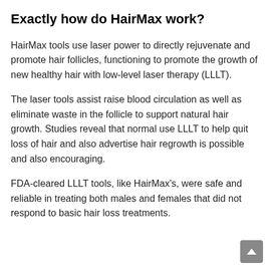Exactly how do HairMax work?
HairMax tools use laser power to directly rejuvenate and promote hair follicles, functioning to promote the growth of new healthy hair with low-level laser therapy (LLLT).
The laser tools assist raise blood circulation as well as eliminate waste in the follicle to support natural hair growth. Studies reveal that normal use LLLT to help quit loss of hair and also advertise hair regrowth is possible and also encouraging.
FDA-cleared LLLT tools, like HairMax's, were safe and reliable in treating both males and females that did not respond to basic hair loss treatments.